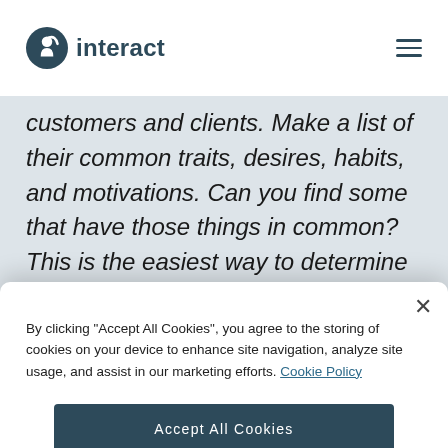interact
customers and clients. Make a list of their common traits, desires, habits, and motivations. Can you find some that have those things in common? This is the easiest way to determine what personality types you
By clicking "Accept All Cookies", you agree to the storing of cookies on your device to enhance site navigation, analyze site usage, and assist in our marketing efforts. Cookie Policy
Accept All Cookies
Cookies Settings
igns they specifically might like, as well as a link to